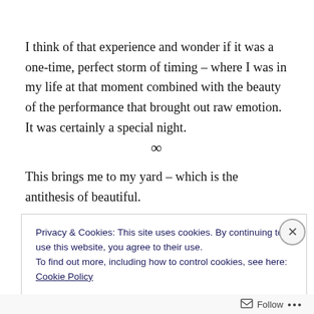I think of that experience and wonder if it was a one-time, perfect storm of timing – where I was in my life at that moment combined with the beauty of the performance that brought out raw emotion. It was certainly a special night.
∞
This brings me to my yard – which is the antithesis of beautiful.
Privacy & Cookies: This site uses cookies. By continuing to use this website, you agree to their use.
To find out more, including how to control cookies, see here: Cookie Policy
Close and accept
Follow ...